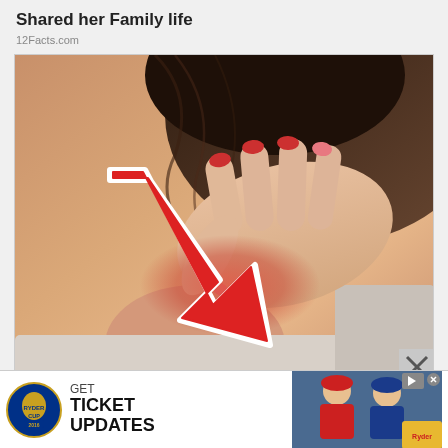Shared her Family life
12Facts.com
[Figure (photo): Close-up photo of a person scratching the back of their neck/shoulder with red fingernails, with a large red arrow pointing to the area being scratched. The skin appears reddened/irritated. A large red arrow with white outline overlaid on the image points downward to the scratch area.]
GET TICKET UPDATES